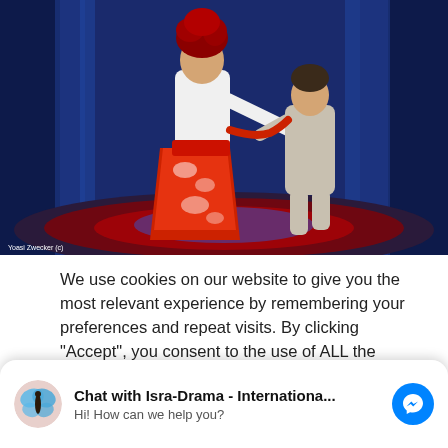[Figure (photo): Two performers on a stage with blue curtain backdrop. One performer in a white and red floral Japanese-style dress with wild red hair, another in grey/white dress pulling on a red sash. Stage has circular red/blue lighting.]
Yoasi Zwecker (c)
We use cookies on our website to give you the most relevant experience by remembering your preferences and repeat visits. By clicking “Accept”, you consent to the use of ALL the cookies
Chat with Isra-Drama - Internationa...
Hi! How can we help you?